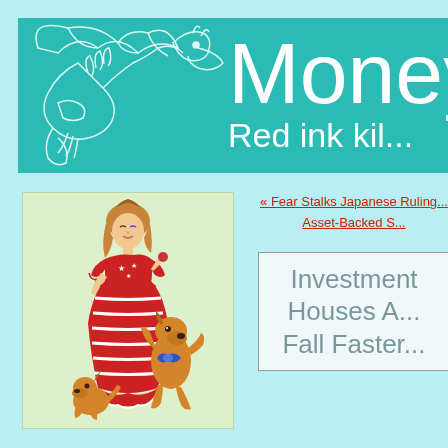Money — Red ink kil...
[Figure (illustration): Blog header banner with teal background, large white 'Money' text, 'Red ink kil...' tagline, and a white outline dragon illustration on the left]
[Figure (illustration): Illustration of a woman in a patriotic red, white, and blue ruffled dress playing with two golden dogs]
Email Me
« Fear Stalks Japanese Ruling... Asset-Backed S...
Investment Houses A... Fall Faster...